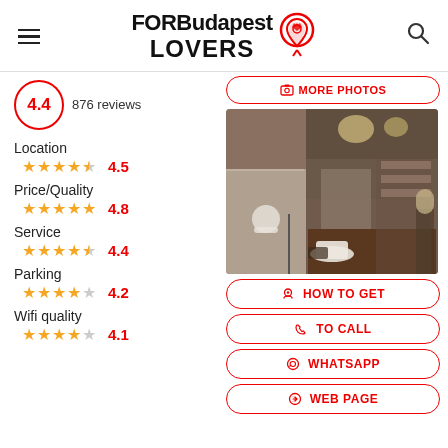FORBudapest LOVERS
4.4  876 reviews
Location  4.5
Price/Quality  4.8
Service  4.4
Parking  4.2
Wifi quality  4.1
[Figure (photo): Interior of a Budapest cafe/restaurant with wooden tables, chairs, pendant lights, and a bar area]
MORE PHOTOS
HOW TO GET
TO CALL
WHATSAPP
WEB PAGE